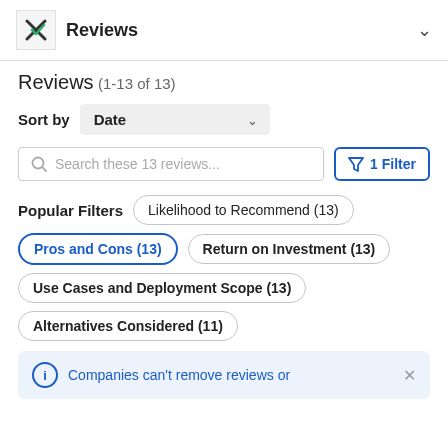Reviews
Reviews (1-13 of 13)
Sort by Date
Search these 13 reviews...
1 Filter
Popular Filters  Likelihood to Recommend (13)
Pros and Cons (13)  Return on Investment (13)
Use Cases and Deployment Scope (13)
Alternatives Considered (11)
Companies can't remove reviews or